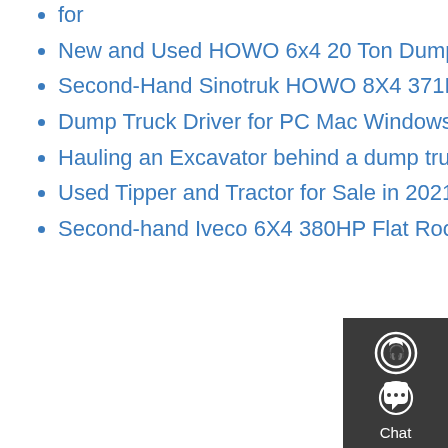for
New and Used HOWO 6x4 20 Ton Dump Truck 10 Wheel 25 Ton
Second-Hand Sinotruk HOWO 8X4 371HP Dump Truck Tipper
Dump Truck Driver for PC Mac Windows 7 8 10
Hauling an Excavator behind a dump truck
Used Tipper and Tractor for Sale in 2021 Tractors for sale Trucks
Second-hand Iveco 6X4 380HP Flat Roof Long 45t Tractor Truck
Our Products
HOME
About Us
Our Products
[Figure (infographic): Floating sidebar with Chat, Email, Contact, and Top buttons]